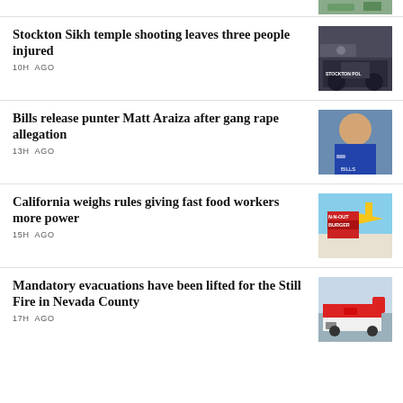[Figure (photo): Partial image at top of page, partially cut off]
Stockton Sikh temple shooting leaves three people injured
10H AGO
[Figure (photo): Police car door showing Stockton Police badge]
Bills release punter Matt Araiza after gang rape allegation
13H AGO
[Figure (photo): Young man in Buffalo Bills blue jersey]
California weighs rules giving fast food workers more power
15H AGO
[Figure (photo): In-N-Out Burger sign outdoors]
Mandatory evacuations have been lifted for the Still Fire in Nevada County
17H AGO
[Figure (photo): Red and white fire truck on road]